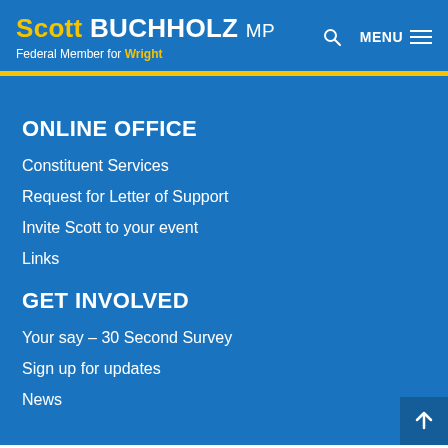Scott BUCHHOLZ MP – Federal Member for Wright
ONLINE OFFICE
Constituent Services
Request for Letter of Support
Invite Scott to your event
Links
GET INVOLVED
Your say – 30 Second Survey
Sign up for updates
News